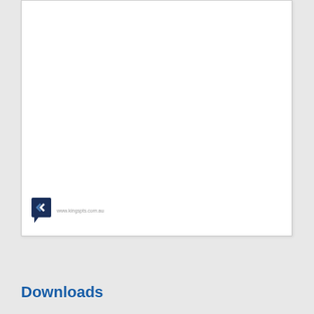[Figure (logo): KG logo with double left-pointing arrows in dark navy blue, with speech bubble shape, and URL www.kingspts.com.au beside it]
Downloads